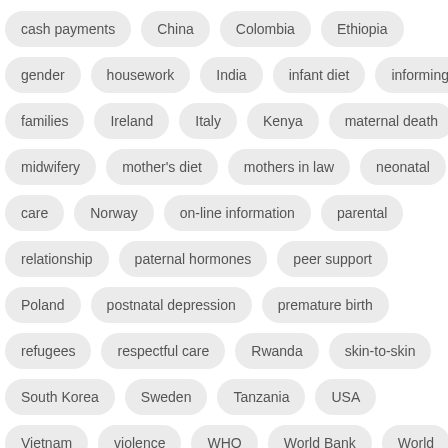[Figure (other): Tag cloud of medical and research-related keywords arranged in pill-shaped labels across multiple rows, including terms like cash payments, China, Colombia, Ethiopia, gender, housework, India, infant diet, informing, families, Ireland, Italy, Kenya, maternal death, midwifery, mother's diet, mothers in law, neonatal, care, Norway, on-line information, parental, relationship, paternal hormones, peer support, Poland, postnatal depression, premature birth, refugees, respectful care, Rwanda, skin-to-skin, South Korea, Sweden, Tanzania, USA, Vietnam, violence, WHO, World Bank, World]